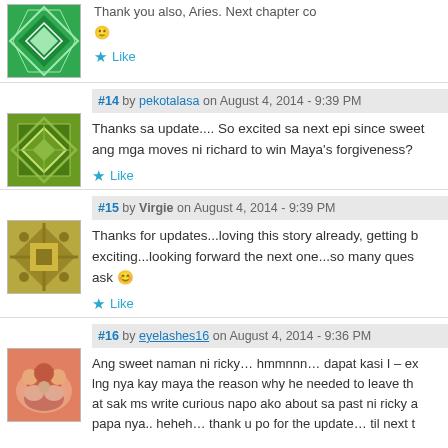Thank you also, Aries. Next chapter co... 🙂
★ Like
#14 by pekotalasa on August 4, 2014 - 9:39 PM
Thanks sa update.... So excited sa next epi since sweet ang mga moves ni richard to win Maya's forgiveness?
★ Like
#15 by Virgie on August 4, 2014 - 9:39 PM
Thanks for updates...loving this story already, getting b exciting...looking forward the next one...so many ques ask 😊
★ Like
#16 by eyelashes16 on August 4, 2014 - 9:36 PM
Ang sweet naman ni ricky... hmmnnn... dapat kasi I – ex lng nya kay maya the reason why he needed to leave t at sak ms write curious napo ako about sa past ni ricky a papa nya.. heheh... thank u po for the update... til next t